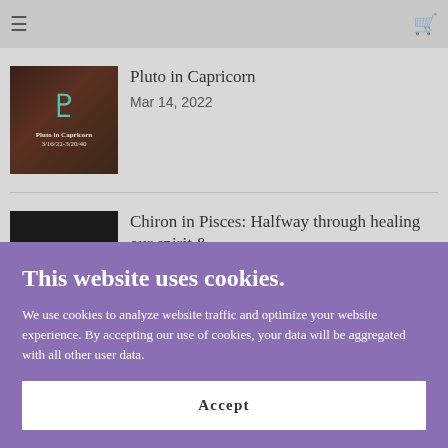≡  [cart icon]
[Figure (photo): Thumbnail image for Pluto in Capricorn blog post — dark reddish-brown background with teal/cyan Pluto astrological symbol and text 'Pluto in Capricorn 3/16/22-3/20/40']
Pluto in Capricorn
Mar 14, 2022
[Figure (photo): Thumbnail image for Chiron in Pisces blog post — black background with golden Chiron astrological symbol]
Chiron in Pisces: Halfway through healing our spirit &...
This website uses cookies.
We use cookies to analyze website traffic and optimize your website experience. By accepting our use of cookies, your data will be aggregated with all other user data.
Accept